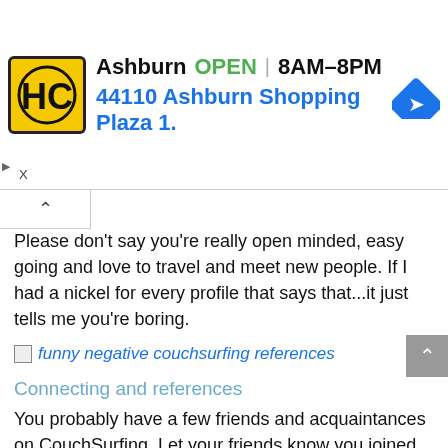[Figure (other): Ad banner: HC logo, Ashburn OPEN 8AM-8PM, 44110 Ashburn Shopping Plaza 1., navigation diamond icon]
Please don't say you're really open minded, easy going and love to travel and meet new people. If I had a nickel for every profile that says that...it just tells me you're boring.
[Figure (other): Broken image placeholder with alt text: funny negative couchsurfing references]
Connecting and references
You probably have a few friends and acquaintances on CouchSurfing. Let your friends know you joined. You can use Facebook login to connect with people you know and ask them to leave you a reference.
If you don't know another soul with a CS account, find a local CS meetup.